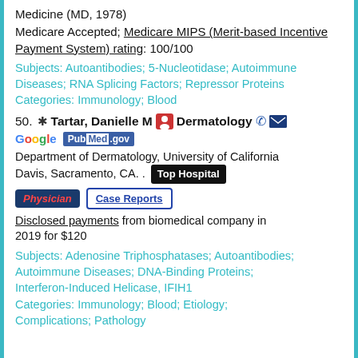Medicine (MD, 1978)
Medicare Accepted; Medicare MIPS (Merit-based Incentive Payment System) rating: 100/100
Subjects: Autoantibodies; 5-Nucleotidase; Autoimmune Diseases; RNA Splicing Factors; Repressor Proteins
Categories: Immunology; Blood
50. Tartar, Danielle M  Dermatology
Department of Dermatology, University of California Davis, Sacramento, CA. . Top Hospital
Physician  Case Reports
Disclosed payments from biomedical company in 2019 for $120
Subjects: Adenosine Triphosphatases; Autoantibodies; Autoimmune Diseases; DNA-Binding Proteins; Interferon-Induced Helicase, IFIH1
Categories: Immunology; Blood; Etiology; Complications; Pathology